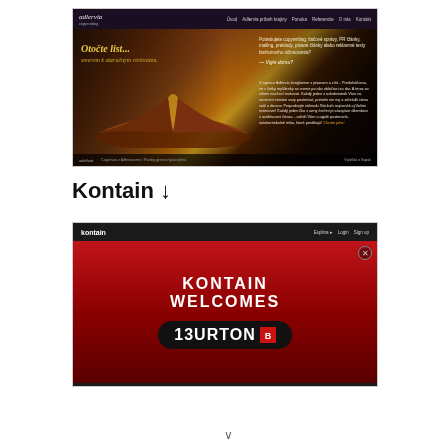[Figure (screenshot): Screenshot of Adlervia copywriting website with dark purple/brown theme, featuring headline 'Otočte list... smerom k zázračným riešeniam.' and hero image of an open book]
Kontain ↓
[Figure (screenshot): Screenshot of Kontain website with dark theme, showing 'KONTAIN WELCOMES' text and Burton logo on red background]